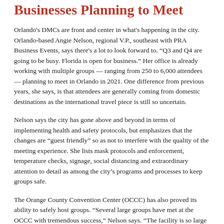Businesses Planning to Meet
Orlando's DMCs are front and center in what's happening in the city. Orlando-based Angie Nelson, regional V.P., southeast with PRA Business Events, says there's a lot to look forward to. “Q3 and Q4 are going to be busy. Florida is open for business.” Her office is already working with multiple groups — ranging from 250 to 6,000 attendees — planning to meet in Orlando in 2021. One difference from previous years, she says, is that attendees are generally coming from domestic destinations as the international travel piece is still so uncertain.
Nelson says the city has gone above and beyond in terms of implementing health and safety protocols, but emphasizes that the changes are “guest friendly” so as not to interfere with the quality of the meeting experience. She lists mask protocols and enforcement, temperature checks, signage, social distancing and extraordinary attention to detail as among the city’s programs and processes to keep groups safe.
The Orange County Convention Center (OCCC) has also proved its ability to safely host groups. “Several large groups have met at the OCCC with tremendous success,” Nelson says. “The facility is so large that groups have found it easy to meet social-distancing…”